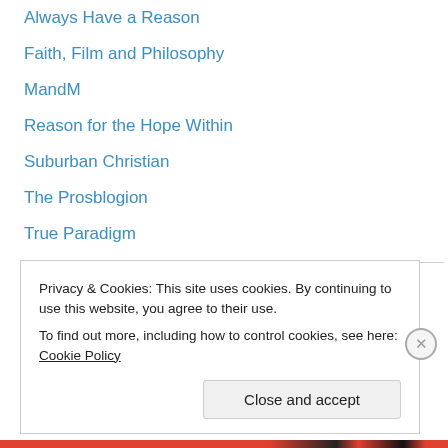Always Have a Reason
Faith, Film and Philosophy
MandM
Reason for the Hope Within
Suburban Christian
The Prosblogion
True Paradigm
Social Media
skelliewag
Wisdom & Folly
Privacy & Cookies: This site uses cookies. By continuing to use this website, you agree to their use. To find out more, including how to control cookies, see here: Cookie Policy
Close and accept